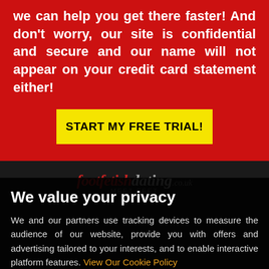we can help you get there faster! And don't worry, our site is confidential and secure and our name will not appear on your credit card statement either!
START MY FREE TRIAL!
[Figure (logo): footfetishdating.co.uk logo with red italic 'footfetish' and grey 'dating' text, with 'MEET FEET' subtitle]
We value your privacy
We and our partners use tracking devices to measure the audience of our website, provide you with offers and advertising tailored to your interests, and to enable interactive platform features. View Our Cookie Policy
Yes, I agree
If you do not agree, please discontinue use of the site
Join Us
Terms